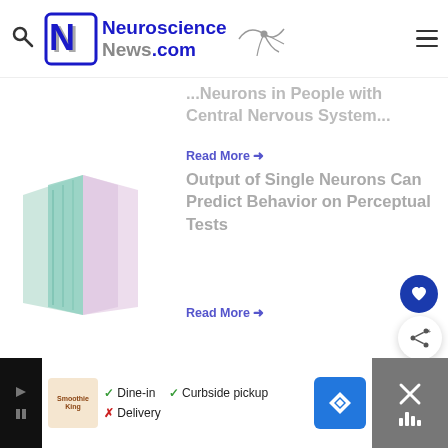[Figure (logo): Neuroscience News.com logo with stylized N and neuron illustration]
...Neurons in People with Central Nervous System...
Read More →
[Figure (illustration): Abstract geometric shape with teal and pink/lavender panels]
Output of Single Neurons Can Predict Behavior on Perceptual Tests
Read More →
[Figure (other): Advertisement banner with Smoothie King logo, dine-in/curbside pickup/delivery options, navigation icon, and close button]